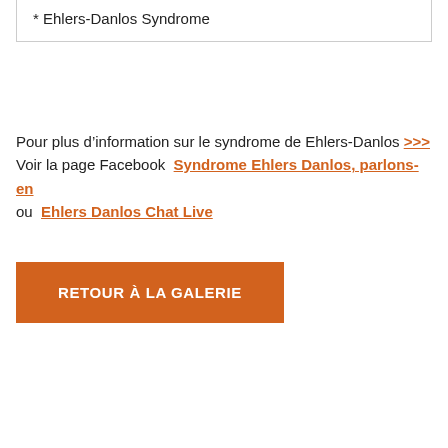* Ehlers-Danlos Syndrome
Pour plus d’information sur le syndrome de Ehlers-Danlos >>> Voir la page Facebook  Syndrome Ehlers Danlos, parlons-en ou  Ehlers Danlos Chat Live
RETOUR À LA GALERIE